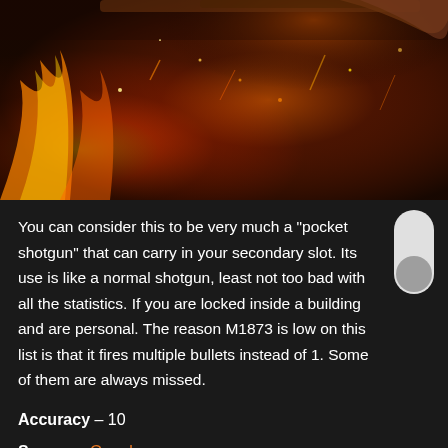[Figure (photo): Fiery background image showing a pistol/revolver (M1873 style gun) with orange and red fire flames, sparks, and embers against a dark smoky background.]
You can consider this to be very much a "pocket shotgun" that can carry in your secondary slot. Its use is like a normal shotgun, least not too bad with all the statistics. If you are locked inside a building and are personal. The reason M1873 is low on this list is that it fires multiple bullets instead of 1. Some of them are always missed.
Accuracy – 10
Source – Google